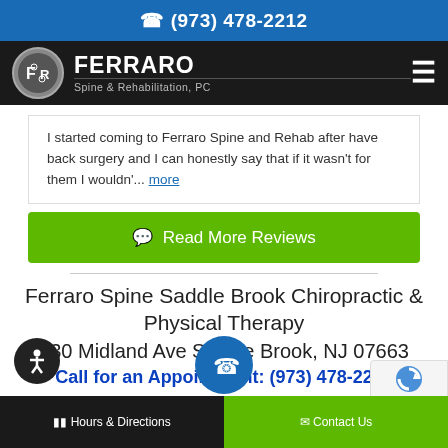(973) 478-2212
[Figure (logo): Ferraro Spine & Rehabilitation PC logo with circular FR emblem and hamburger menu icon]
I started coming to Ferraro Spine and Rehab after have back surgery and I can honestly say that if it wasn't for them I wouldn'... more
Read More Reviews
Ferraro Spine Saddle Brook Chiropractic & Physical Therapy
230 Midland Ave Saddle Brook, NJ 07663
Call for an Appointment: (973) 478-2212